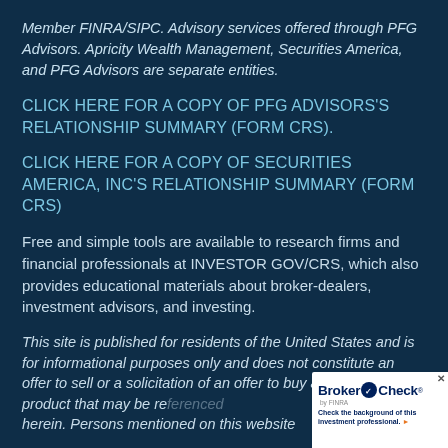Member FINRA/SIPC. Advisory services offered through PFG Advisors. Apricity Wealth Management, Securities America, and PFG Advisors are separate entities.
CLICK HERE FOR A COPY OF PFG ADVISORS'S RELATIONSHIP SUMMARY (FORM CRS).
CLICK HERE FOR A COPY OF SECURITIES AMERICA, INC'S RELATIONSHIP SUMMARY (FORM CRS)
Free and simple tools are available to research firms and financial professionals at INVESTOR GOV/CRS, which also provides educational materials about broker-dealers, investment advisors, and investing.
This site is published for residents of the United States and is for informational purposes only and does not constitute an offer to sell or a solicitation of an offer to buy any security or product that may be referenced herein. Persons mentioned on this website
[Figure (logo): BrokerCheck by FINRA badge with text 'Check the background of this investment professional.']